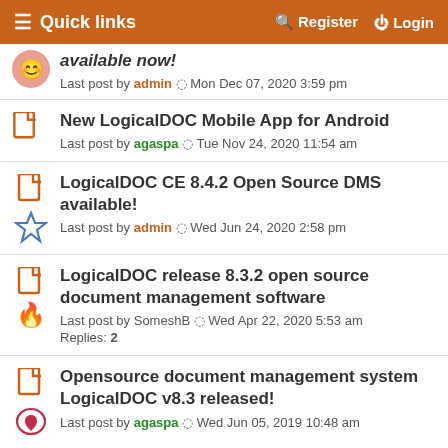Quick links   Register   Login
available now! Last post by admin  Mon Dec 07, 2020 3:59 pm
New LogicalDOC Mobile App for Android Last post by agaspa  Tue Nov 24, 2020 11:54 am
LogicalDOC CE 8.4.2 Open Source DMS available! Last post by admin  Wed Jun 24, 2020 2:58 pm
LogicalDOC release 8.3.2 open source document management software Last post by SomeshB  Wed Apr 22, 2020 5:53 am Replies: 2
Opensource document management system LogicalDOC v8.3 released! Last post by agaspa  Wed Jun 05, 2019 10:48 am